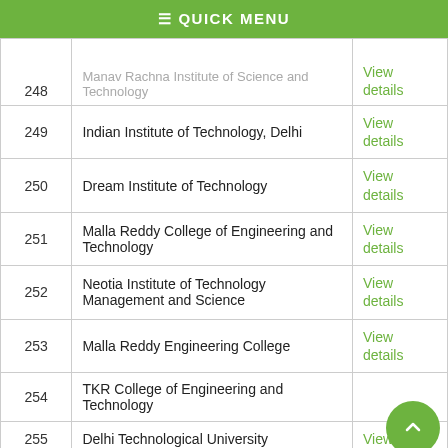≡ QUICK MENU
| # | Institution | Action |
| --- | --- | --- |
| 248 | Manav Rachna Institute of Science and Technology | View details |
| 249 | Indian Institute of Technology, Delhi | View details |
| 250 | Dream Institute of Technology | View details |
| 251 | Malla Reddy College of Engineering and Technology | View details |
| 252 | Neotia Institute of Technology Management and Science | View details |
| 253 | Malla Reddy Engineering College | View details |
| 254 | TKR College of Engineering and Technology | View details |
| 255 | Delhi Technological University | View |